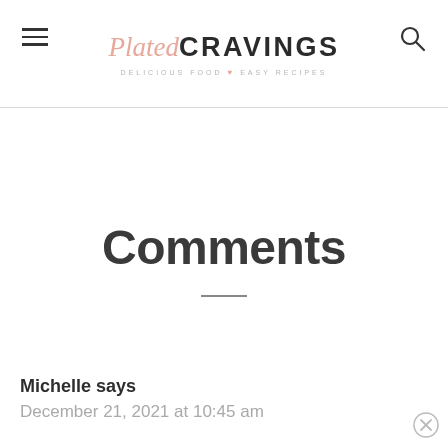Plated CRAVINGS — DELICIOUS FOOD ♥ EASY RECIPES
Comments
Michelle says
December 21, 2021 at 10:45 am